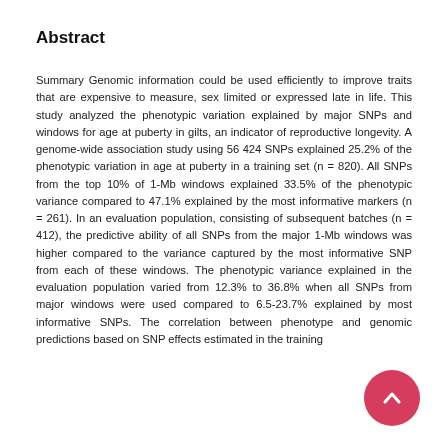Abstract
Summary Genomic information could be used efficiently to improve traits that are expensive to measure, sex limited or expressed late in life. This study analyzed the phenotypic variation explained by major SNPs and windows for age at puberty in gilts, an indicator of reproductive longevity. A genome-wide association study using 56 424 SNPs explained 25.2% of the phenotypic variation in age at puberty in a training set (n = 820). All SNPs from the top 10% of 1-Mb windows explained 33.5% of the phenotypic variance compared to 47.1% explained by the most informative markers (n = 261). In an evaluation population, consisting of subsequent batches (n = 412), the predictive ability of all SNPs from the major 1-Mb windows was higher compared to the variance captured by the most informative SNP from each of these windows. The phenotypic variance explained in the evaluation population varied from 12.3% to 36.8% when all SNPs from major windows were used compared to 6.5-23.7% explained by most informative SNPs. The correlation between phenotype and genomic predictions based on SNP effects estimated in the training